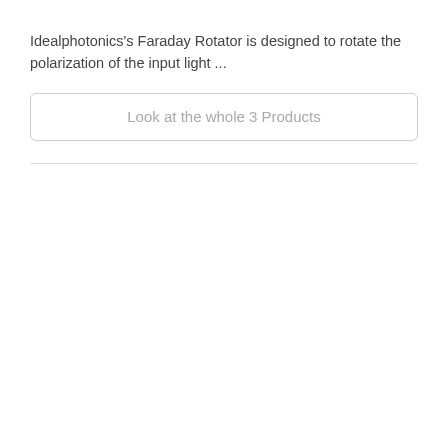Idealphotonics's Faraday Rotator is designed to rotate the polarization of the input light ...
Look at the whole 3 Products